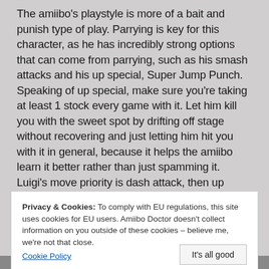The amiibo's playstyle is more of a bait and punish type of play. Parrying is key for this character, as he has incredibly strong options that can come from parrying, such as his smash attacks and his up special, Super Jump Punch. Speaking of up special, make sure you're taking at least 1 stock every game with it. Let him kill you with the sweet spot by drifting off stage without recovering and just letting him hit you with it in general, because it helps the amiibo learn it better rather than just spamming it. Luigi's move priority is dash attack, then up special, then down special, then forward
Privacy & Cookies: To comply with EU regulations, this site uses cookies for EU users. Amiibo Doctor doesn't collect information on you outside of these cookies – believe me, we're not that close. Cookie Policy
It's all good